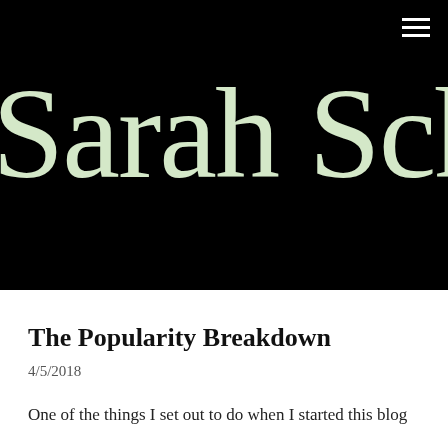[Figure (screenshot): Black header banner with site name 'Sarah Scheel' in large cursive/script white-green text and a hamburger menu icon in the top right corner]
The Popularity Breakdown
4/5/2018
One of the things I set out to do when I started this blog